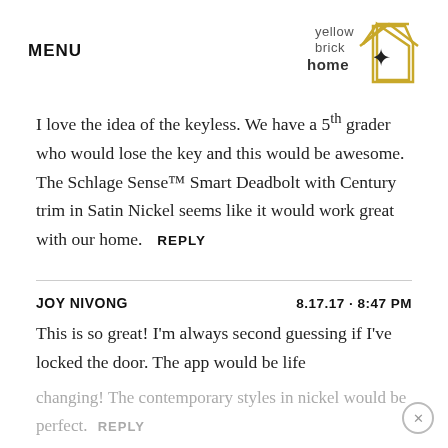MENU | yellow brick home logo
I love the idea of the keyless. We have a 5th grader who would lose the key and this would be awesome. The Schlage Sense™ Smart Deadbolt with Century trim in Satin Nickel seems like it would work great with our home.  REPLY
JOY NIVONG  8.17.17 · 8:47 PM
This is so great! I'm always second guessing if I've locked the door. The app would be life changing! The contemporary styles in nickel would be perfect.  REPLY